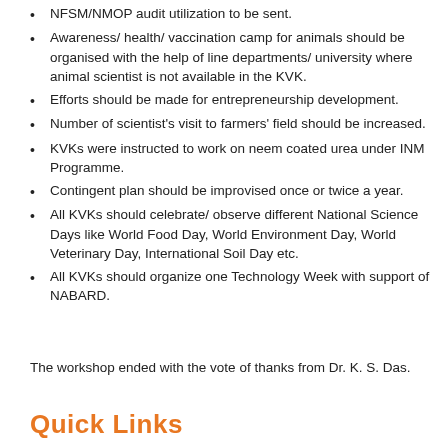NFSM/NMOP audit utilization to be sent.
Awareness/ health/ vaccination camp for animals should be organised with the help of line departments/ university where animal scientist is not available in the KVK.
Efforts should be made for entrepreneurship development.
Number of scientist's visit to farmers' field should be increased.
KVKs were instructed to work on neem coated urea under INM Programme.
Contingent plan should be improvised once or twice a year.
All KVKs should celebrate/ observe different National Science Days like World Food Day, World Environment Day, World Veterinary Day, International Soil Day etc.
All KVKs should organize one Technology Week with support of NABARD.
The workshop ended with the vote of thanks from Dr. K. S. Das.
Quick Links